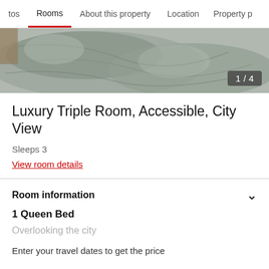tos  Rooms  About this property  Location  Property p
[Figure (photo): Hotel room photo showing bedding with grey/silver patterned duvet, image counter badge showing 1/4]
Luxury Triple Room, Accessible, City View
Sleeps 3
View room details
Room information
1 Queen Bed
Overlooking the city
Enter your travel dates to get the price